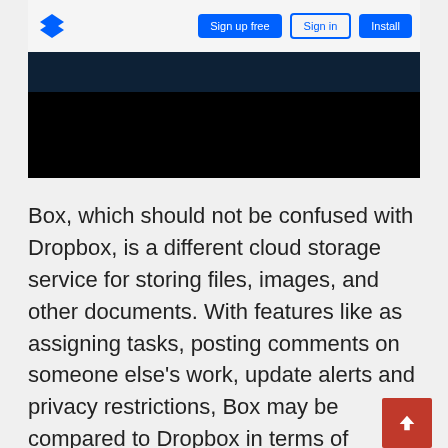[Figure (screenshot): Screenshot of a cloud storage application interface showing a dark navigation bar and logo area with blue buttons]
Box, which should not be confused with Dropbox, is a different cloud storage service for storing files, images, and other documents. With features like as assigning tasks, posting comments on someone else's work, update alerts and privacy restrictions, Box may be compared to Dropbox in terms of similarities. For example, you may specify who in your company has the ability to see and access certain folders and files, as well as who has the ability to edit and upload data. Individual files and shared folders can be password-protected, and expiration dates